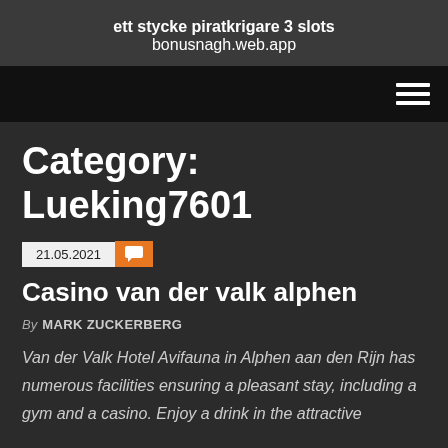ett stycke piratkrigare 3 slots
bonusnagh.web.app
Category: Lueking7601
21.05.2021
Casino van der valk alphen
By MARK ZUCKERBERG
Van der Valk Hotel Avifauna in Alphen aan den Rijn has numerous facilities ensuring a pleasant stay, including a gym and a casino. Enjoy a drink in the attractive